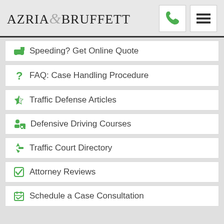Azria & Bruffett
Speeding? Get Online Quote
FAQ: Case Handling Procedure
Traffic Defense Articles
Defensive Driving Courses
Traffic Court Directory
Attorney Reviews
Schedule a Case Consultation